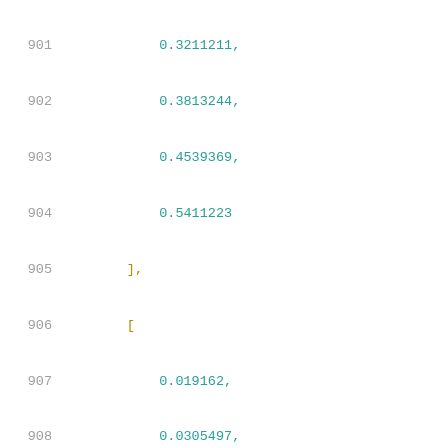Code listing lines 901-922 showing numeric array values: 0.3211211, 0.3813244, 0.4539369, 0.5411223 closing bracket, opening bracket, 0.019162, 0.0305497, 0.0327982, 0.0355447, 0.0388075, 0.0427499, 0.0474905, 0.0530784, 0.0598851, 0.068022, 0.0777813, 0.0895035, 0.1035236, 0.120372, 0.1407062, 0.1649548